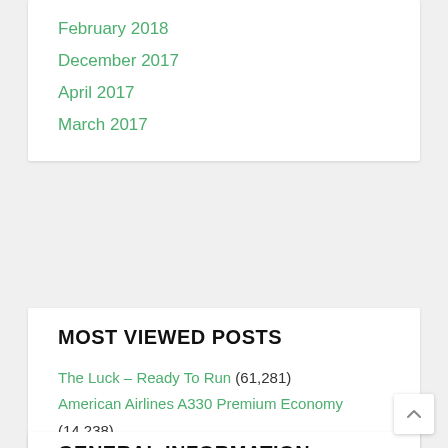February 2018
December 2017
April 2017
March 2017
MOST VIEWED POSTS
The Luck – Ready To Run (61,281)
American Airlines A330 Premium Economy (14,238)
Averlanche – Life's Phenomenon (14,018)
Alexander Eder – Schlagzeilen (12,230)
Boeing 757-200 Icelandair Saga Premium Class (10,872)
GENERAL INFORMATION